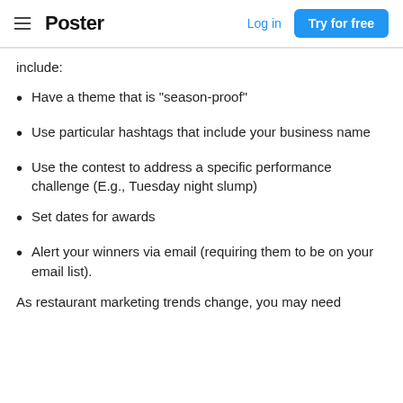Poster | Log in | Try for free
include:
Have a theme that is "season-proof"
Use particular hashtags that include your business name
Use the contest to address a specific performance challenge (E.g., Tuesday night slump)
Set dates for awards
Alert your winners via email (requiring them to be on your email list).
As restaurant marketing trends change, you may need